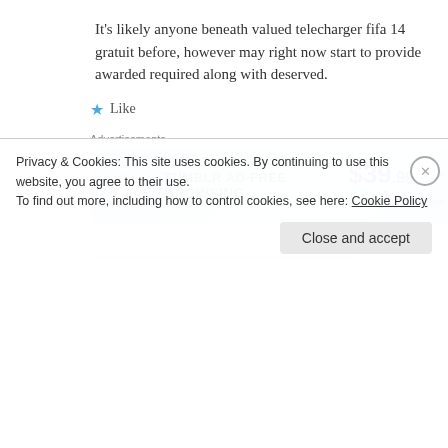It’s likely anyone beneath valued telecharger fifa 14 gratuit before, however may right now start to provide awarded required along with deserved.
★ Like
Advertisements
[Figure (screenshot): Tumblr Ad-Free Browsing advertisement banner: $39.99 a year or $4.99 a month]
REPORT THIS AD
Privacy & Cookies: This site uses cookies. By continuing to use this website, you agree to their use.
To find out more, including how to control cookies, see here: Cookie Policy
Close and accept